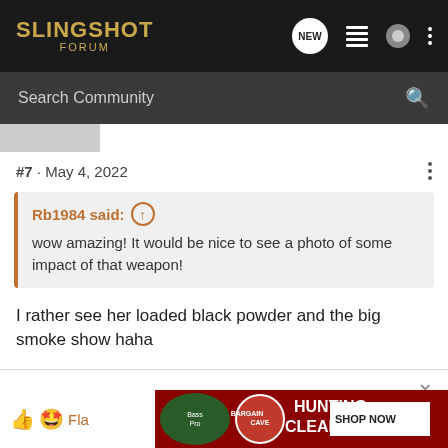SLINGSHOT FORUM
Search Community
#7 · May 4, 2022
Rb1984 said: ↑
wow amazing! It would be nice to see a photo of some impact of that weapon!
I rather see her loaded black powder and the big smoke show haha
[Figure (other): Bass Pro Shops Hunting Bargain Cave Clearance ad banner with Shop Now button]